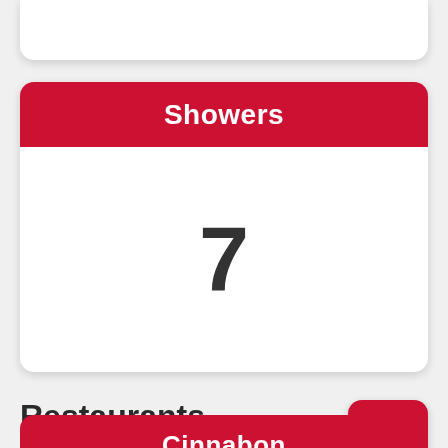Showers
7
Restaurants
TOP
Cinnabon